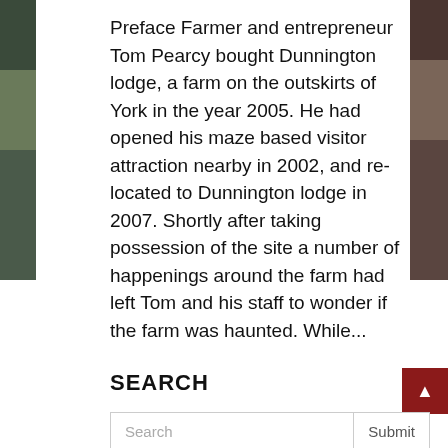[Figure (photo): Decorative photo strip on the left edge of the page]
[Figure (photo): Decorative photo strip on the right edge of the page]
Preface Farmer and entrepreneur Tom Pearcy bought Dunnington lodge, a farm on the outskirts of York in the year 2005. He had opened his maze based visitor attraction nearby in 2002, and re-located to Dunnington lodge in 2007. Shortly after taking possession of the site a number of happenings around the farm had left Tom and his staff to wonder if the farm was haunted. While...
Read more
SEARCH
Search
Submit